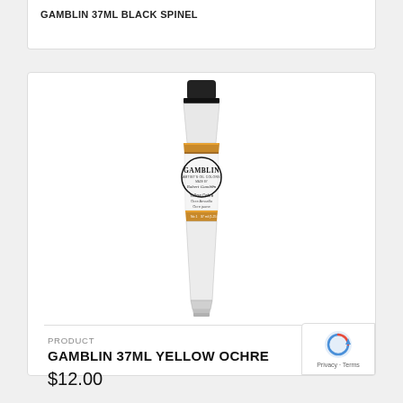GAMBLIN 37ML BLACK SPINEL
[Figure (photo): Gamblin 37ml Yellow Ochre paint tube with white body, black cap, and golden-yellow label band. Label reads GAMBLIN ARTIST'S OIL COLORS, Yellow Ochre / Ocre Amarillo / Ocre jaune.]
PRODUCT
GAMBLIN 37ML YELLOW OCHRE
$12.00